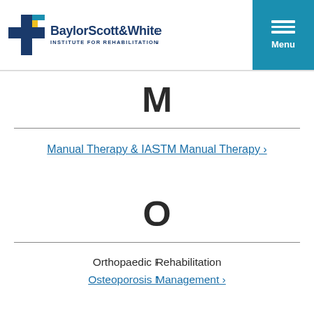[Figure (logo): Baylor Scott & White Institute for Rehabilitation logo with blue and yellow cross icon]
M
Manual Therapy & IASTM Manual Therapy ›
O
Orthopaedic Rehabilitation
Osteoporosis Management ›